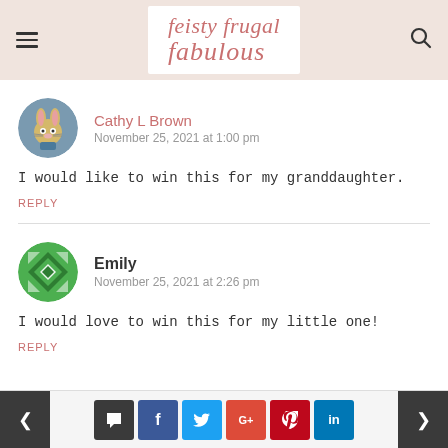feisty frugal fabulous
Cathy L Brown
November 25, 2021 at 1:00 pm
I would like to win this for my granddaughter.
REPLY
Emily
November 25, 2021 at 2:26 pm
I would love to win this for my little one!
REPLY
< | comment | f | t | G+ | pinterest | in | >